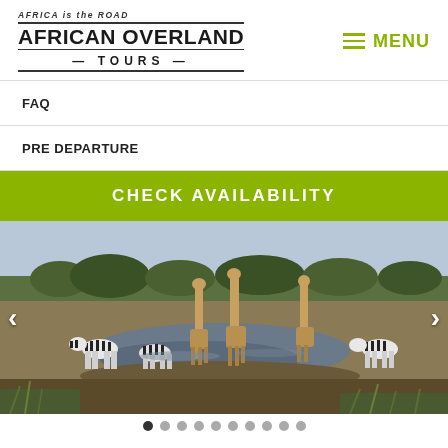AFRICA is the ROAD | AFRICAN OVERLAND TOURS | MENU
FAQ
PRE DEPARTURE
CHECK AVAILABILITY
[Figure (photo): Safari photo showing giraffes and zebras at a watering hole, with trees in the background. Navigation arrows on left and right sides.]
Dot navigation indicators (carousel)